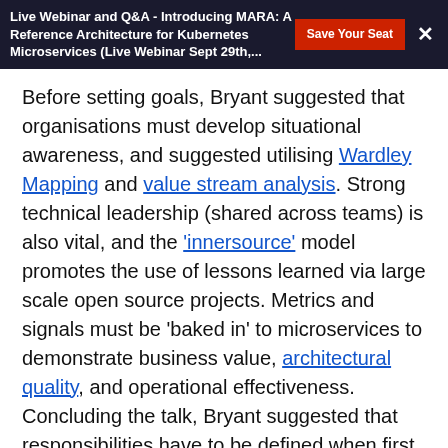Live Webinar and Q&A - Introducing MARA: A Reference Architecture for Kubernetes Microservices (Live Webinar Sept 29th,...
Before setting goals, Bryant suggested that organisations must develop situational awareness, and suggested utilising Wardley Mapping and value stream analysis. Strong technical leadership (shared across teams) is also vital, and the 'innersource' model promotes the use of lessons learned via large scale open source projects. Metrics and signals must be 'baked in' to microservices to demonstrate business value, architectural quality, and operational effectiveness. Concluding the talk, Bryant suggested that responsibilities have to be defined when first implementing a DevOps methodology, and stated that continuous delivery is often a catalyst to drive lasting change with a software delivery process, particularly with the